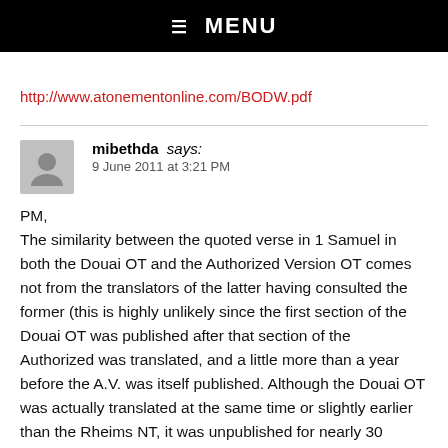☰ MENU
http://www.atonementonline.com/BODW.pdf
mibethda says:
9 June 2011 at 3:21 PM
PM,
The similarity between the quoted verse in 1 Samuel in both the Douai OT and the Authorized Version OT comes not from the translators of the latter having consulted the former (this is highly unlikely since the first section of the Douai OT was published after that section of the Authorized was translated, and a little more than a year before the A.V. was itself published. Although the Douai OT was actually translated at the same time or slightly earlier than the Rheims NT, it was unpublished for nearly 30 years. It is highly unlikely that the